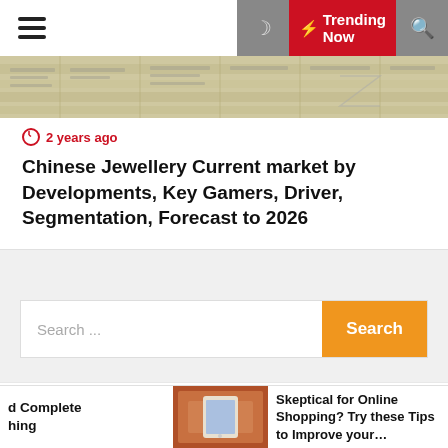☰  🌙  ⚡ Trending Now  🔍
[Figure (photo): Newspaper/financial documents close-up image at top of article card]
⏰ 2 years ago
Chinese Jewellery Current market by Developments, Key Gamers, Driver, Segmentation, Forecast to 2026
Search ...
Recent Posts
The Invention and Complete Evolution of Clothing
d Complete hing  [image]  Skeptical for Online Shopping? Try these Tips to Improve your...